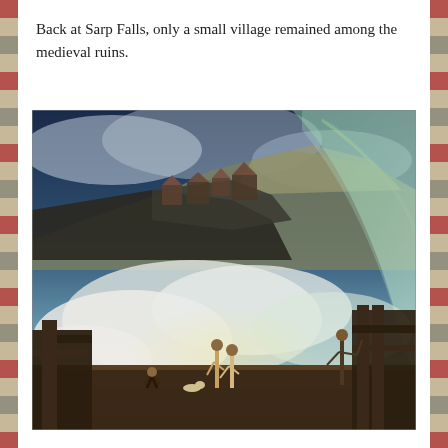Back at Sarp Falls, only a small village remained among the medieval ruins.
[Figure (illustration): A dramatic Romantic-era painting depicting Sarp Falls with mist and spray rising from the waterfall. In the foreground, small human figures stand on a wooden platform observing the falls. In the background, a medieval village and rocky cliffs are visible beneath a stormy sky with a rainbow visible on the upper right.]